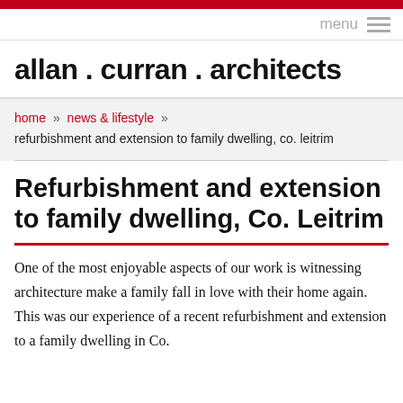allan . curran . architects
home » news & lifestyle » refurbishment and extension to family dwelling, co. leitrim
Refurbishment and extension to family dwelling, Co. Leitrim
One of the most enjoyable aspects of our work is witnessing architecture make a family fall in love with their home again. This was our experience of a recent refurbishment and extension to a family dwelling in Co.